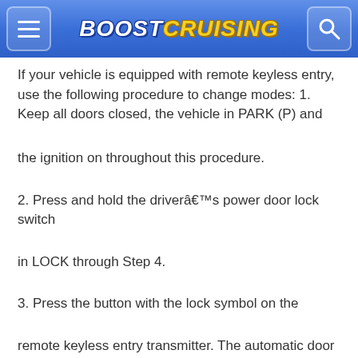BoostCruising
If your vehicle is equipped with remote keyless entry, use the following procedure to change modes: 1. Keep all doors closed, the vehicle in PARK (P) and
the ignition on throughout this procedure.
2. Press and hold the driverâ€™s power door lock switch
in LOCK through Step 4.
3. Press the button with the lock symbol on the
remote keyless entry transmitter. The automatic door locks will remain in the current mode.